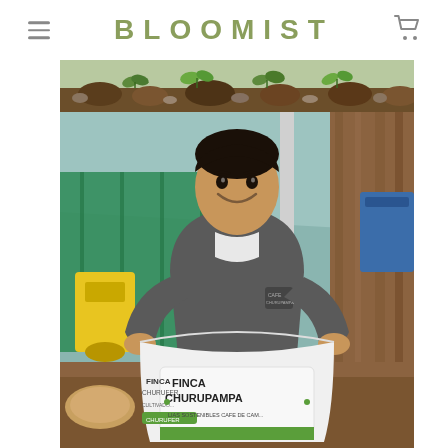BLOOMIST
[Figure (photo): Top portion of a garden/farm scene with seedlings and soil visible]
[Figure (photo): A smiling young man crouching and holding a large white bag labeled 'FINCA CHURUPAMPA - FAMILIAS SOSTENIBLES CAFE DE CAM...' with a greenhouse/farm background featuring green tarps and yellow machinery]